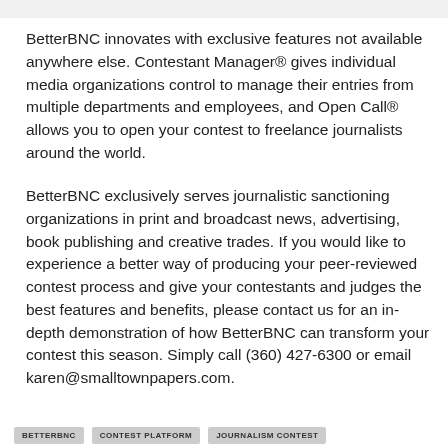BetterBNC innovates with exclusive features not available anywhere else. Contestant Manager® gives individual media organizations control to manage their entries from multiple departments and employees, and Open Call® allows you to open your contest to freelance journalists around the world.
BetterBNC exclusively serves journalistic sanctioning organizations in print and broadcast news, advertising, book publishing and creative trades. If you would like to experience a better way of producing your peer-reviewed contest process and give your contestants and judges the best features and benefits, please contact us for an in-depth demonstration of how BetterBNC can transform your contest this season. Simply call (360) 427-6300 or email karen@smalltownpapers.com.
BETTERBNC   CONTEST PLATFORM   JOURNALISM CONTEST